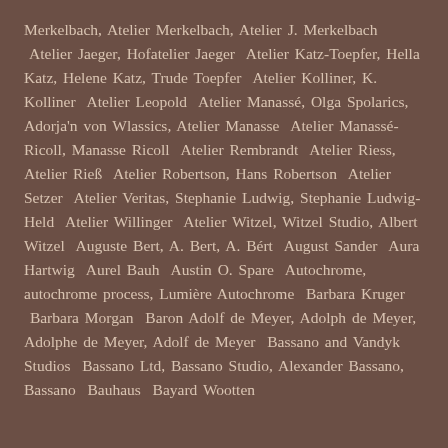Merkelbach, Atelier Merkelbach, Atelier J. Merkelbach  Atelier Jaeger, Hofatelier Jaeger  Atelier Katz-Toepfer, Hella Katz, Helene Katz, Trude Toepfer  Atelier Kolliner, K. Kolliner  Atelier Leopold  Atelier Manassé, Olga Spolarics, Adorja'n von Wlassics, Atelier Manasse  Atelier Manassé-Ricoll, Manasse Ricoll  Atelier Rembrandt  Atelier Riess, Atelier Rieß  Atelier Robertson, Hans Robertson  Atelier Setzer  Atelier Veritas, Stephanie Ludwig, Stephanie Ludwig-Held  Atelier Willinger  Atelier Witzel, Witzel Studio, Albert Witzel  Auguste Bert, A. Bert, A. Bért  August Sander  Aura Hartwig  Aurel Bauh  Austin O. Spare  Autochrome, autochrome process, Lumière Autochrome  Barbara Kruger  Barbara Morgan  Baron Adolf de Meyer, Adolph de Meyer, Adolphe de Meyer, Adolf de Meyer  Bassano and Vandyk Studios  Bassano Ltd, Bassano Studio, Alexander Bassano, Bassano  Bauhaus  Bayard Wootten